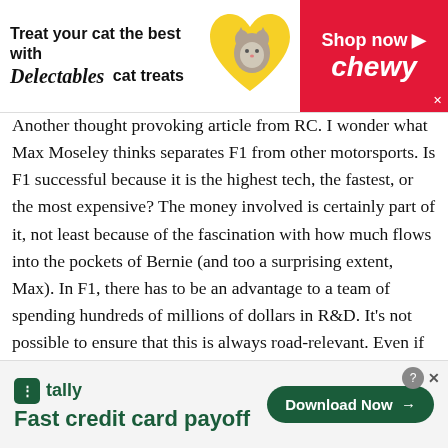[Figure (other): Top advertisement banner: 'Treat your cat the best with Delectables cat treats' with cat image and yellow heart, Chewy Shop now red banner on right]
Another thought provoking article from RC. I wonder what Max Moseley thinks separates F1 from other motorsports. Is F1 successful because it is the highest tech, the fastest, or the most expensive? The money involved is certainly part of it, not least because of the fascination with how much flows into the pockets of Bernie (and too a surprising extent, Max). In F1, there has to be an advantage to a team of spending hundreds of millions of dollars in R&D. It's not possible to ensure that this is always road-relevant. Even if every component except KERS is fixed and regulated, the top teams will spend billions on KERS development to give them that all important half a second, and it's not going
[Figure (other): Bottom advertisement: Tally app - 'Fast credit card payoff' with Download Now button]